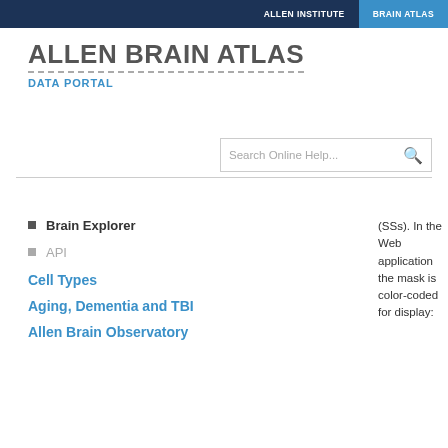ALLEN INSTITUTE | BRAIN ATLAS
ALLEN BRAIN ATLAS
DATA PORTAL
Brain Explorer
API
Cell Types
Aging, Dementia and TBI
Allen Brain Observatory
(SSs). In the Web application the mask is color-coded for display: